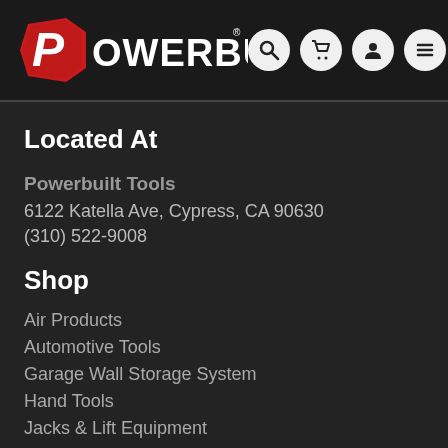[Figure (logo): Powerbuildt logo with red hexagonal P icon and white POWERBUILT text, followed by search, cart, user, and menu icons in white circles]
Located At
Powerbuildt Tools
6122 Katella Ave, Cypress, CA 90630
(310) 522-9008
Shop
Air Products
Automotive Tools
Garage Wall Storage System
Hand Tools
Jacks & Lift Equipment